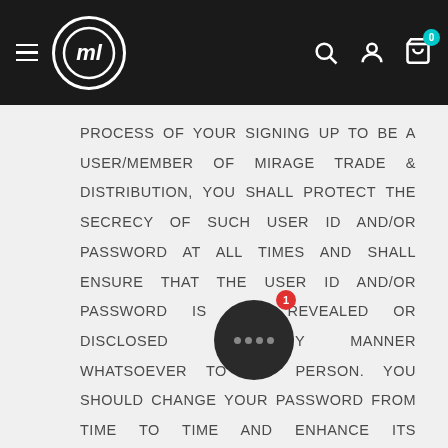[Figure (screenshot): Navigation bar with hamburger menu, Mirage Trade & Distribution logo (M in circle), search icon, account icon, and cart icon with 0 badge]
PROCESS OF YOUR SIGNING UP TO BE A USER/MEMBER OF MIRAGE TRADE & DISTRIBUTION, YOU SHALL PROTECT THE SECRECY OF SUCH USER ID AND/OR PASSWORD AT ALL TIMES AND SHALL ENSURE THAT THE USER ID AND/OR PASSWORD IS NOT REVEALED OR DISCLOSED IN ANY MANNER WHATSOEVER TO ANY PERSON. YOU SHOULD CHANGE YOUR PASSWORD FROM TIME TO TIME AND ENHANCE ITS SECURITY. YOU SHALL BE FULLY RESPONSIBLE FOR ALL USE AND